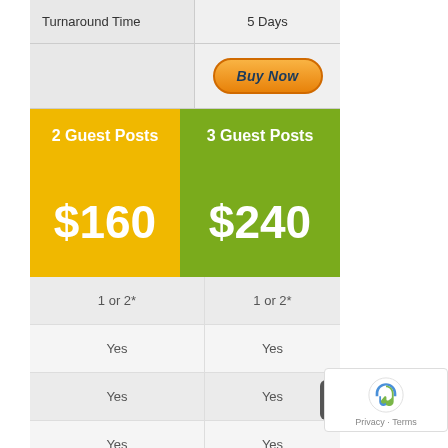|  | 2 Guest Posts | 3 Guest Posts |
| --- | --- | --- |
| Turnaround Time |  | 5 Days |
|  | Buy Now |  |
|  | $160 | $240 |
|  | 1 or 2* | 1 or 2* |
|  | Yes | Yes |
|  | Yes | Yes |
|  | Yes | Yes |